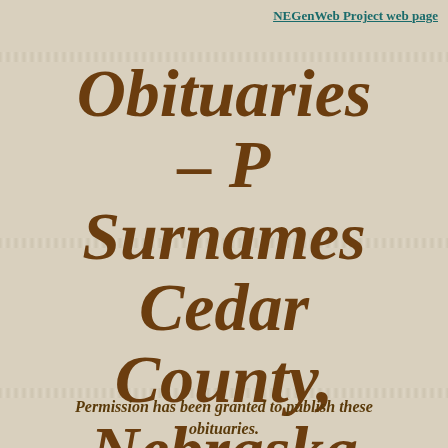NEGenWeb Project web page
Obituaries - P Surnames Cedar County, Nebraska
Permission has been granted to publish these obituaries.